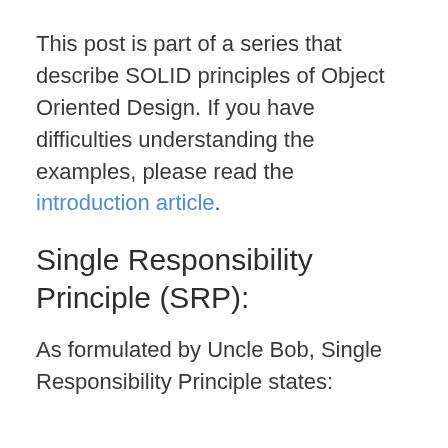This post is part of a series that describe SOLID principles of Object Oriented Design. If you have difficulties understanding the examples, please read the introduction article.
Single Responsibility Principle (SRP):
As formulated by Uncle Bob, Single Responsibility Principle states: